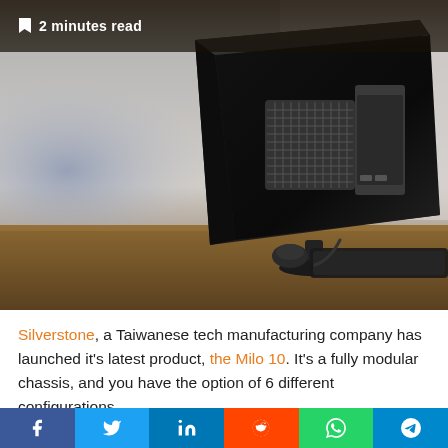🔖 2 minutes read
[Figure (photo): Back view of a monitor on a desk with a small PC chassis mounted behind the screen, with a keyboard and mouse visible on a wooden desk surface.]
Silverstone, a Taiwanese tech manufacturing company has launched it's latest product, the Milo 10. It's a fully modular chassis, and you have the option of 6 different configurations.